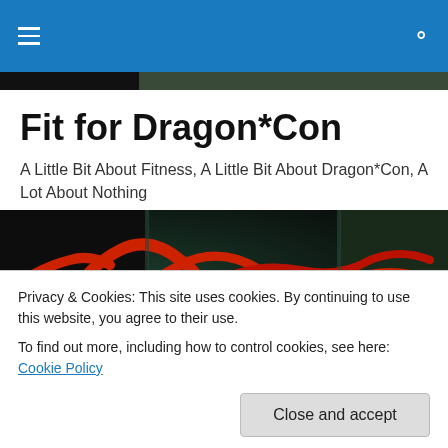Navigation bar with hamburger menu and search icon
Fit for Dragon*Con
A Little Bit About Fitness, A Little Bit About Dragon*Con, A Lot About Nothing
[Figure (photo): Hero image showing a dark background with red dragon artwork or cosplay imagery.]
Privacy & Cookies: This site uses cookies. By continuing to use this website, you agree to their use.
To find out more, including how to control cookies, see here: Cookie Policy
Close and accept